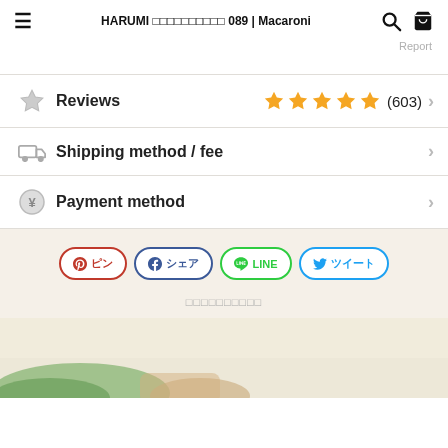HARUMI xxxxxxxxxx 089 | Macaroni
Report
Reviews  ★★★★★ (603)
Shipping method / fee
Payment method
ピン シェア LINE ツイート
このレシピのキーワード
[Figure (photo): Partial view of a food/recipe image at the bottom of the page]